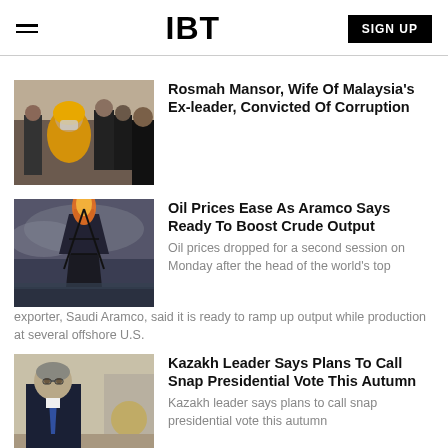IBT | SIGN UP
Rosmah Mansor, Wife Of Malaysia's Ex-leader, Convicted Of Corruption
Oil Prices Ease As Aramco Says Ready To Boost Crude Output
Oil prices dropped for a second session on Monday after the head of the world's top exporter, Saudi Aramco, said it is ready to ramp up output while production at several offshore U.S.
Kazakh Leader Says Plans To Call Snap Presidential Vote This Autumn
Kazakh leader says plans to call snap presidential vote this autumn